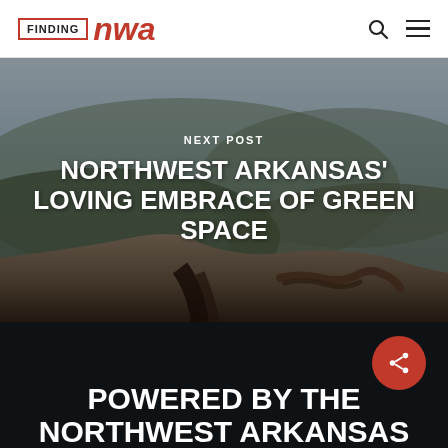FINDING nwa
[Figure (photo): Outdoor rocky landscape with hiking rope/gear resting on rocks, misty hills in background. Northwest Arkansas nature scene.]
NEXT POST
NORTHWEST ARKANSAS' LOVING EMBRACE OF GREEN SPACE
POWERED BY THE NORTHWEST ARKANSAS